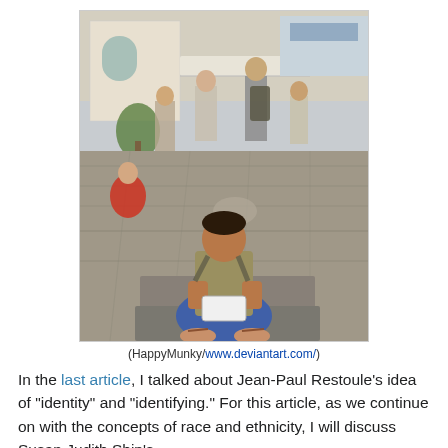[Figure (photo): A young man sitting on stone steps in a public square, looking down at a handheld device (gaming console or phone), wearing a khaki shirt, blue pants, and flip-flops, with a backpack. Crowd of people visible in the background near buildings with awnings.]
(HappyMunky/www.deviantart.com/)
In the last article, I talked about Jean-Paul Restoule's idea of "identity" and "identifying." For this article, as we continue on with the concepts of race and ethnicity, I will discuss Susan Judith Ship's...